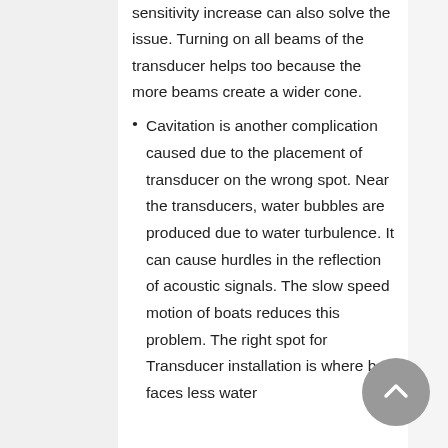sensitivity increase can also solve the issue. Turning on all beams of the transducer helps too because the more beams create a wider cone.
Cavitation is another complication caused due to the placement of transducer on the wrong spot. Near the transducers, water bubbles are produced due to water turbulence. It can cause hurdles in the reflection of acoustic signals. The slow speed motion of boats reduces this problem. The right spot for Transducer installation is where boat faces less water...